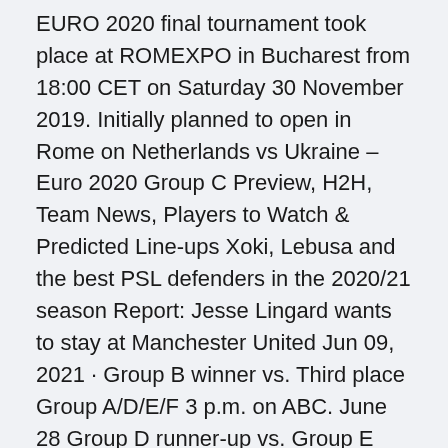EURO 2020 final tournament took place at ROMEXPO in Bucharest from 18:00 CET on Saturday 30 November 2019. Initially planned to open in Rome on Netherlands vs Ukraine – Euro 2020 Group C Preview, H2H, Team News, Players to Watch & Predicted Line-ups Xoki, Lebusa and the best PSL defenders in the 2020/21 season Report: Jesse Lingard wants to stay at Manchester United Jun 09, 2021 · Group B winner vs. Third place Group A/D/E/F 3 p.m. on ABC. June 28 Group D runner-up vs. Group E runner-up, 12 p.m.
ESPN • UEFA Euro 2016. Live.